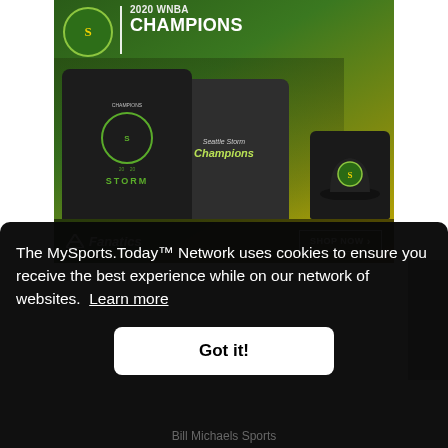[Figure (advertisement): Fanatics advertisement for 2020 WNBA Champions Seattle Storm merchandise including t-shirts, v-neck shirt, and hat on a green/gold gradient background. Bottom bar shows Fanatics logo and 'SHOP NOW' button.]
The MySports.Today™ Network uses cookies to ensure you receive the best experience while on our network of websites. Learn more
Got it!
Bill Michaels Sports